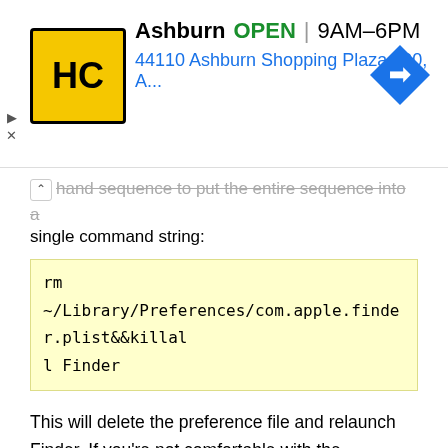[Figure (infographic): Advertisement banner for HC store in Ashburn. Shows HC logo (yellow square with HC in black), store name 'Ashburn', status 'OPEN', hours '9AM–6PM', address '44110 Ashburn Shopping Plaza 190, A...' and a blue navigation/directions diamond icon on the right.]
hand sequence to put the entire sequence into a single command string:
rm ~/Library/Preferences/com.apple.finder.plist&&killall Finder
This will delete the preference file and relaunch Finder. If you're not comfortable with the command line this is best avoided because an error with the 'rm' command could theoretically remove unintended files without warning.
Whichever method you use to trash the file from the user Library folder, the result of ditching the Finder preference file is a dramatically calmed down Finder process. If